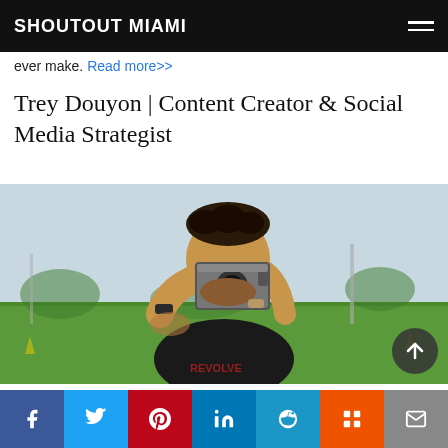SHOUTOUT MIAMI
ever make. Read more>>
Trey Douyon | Content Creator & Social Media Strategist
[Figure (photo): A man holding a film camera up to his face, wearing a black t-shirt with tattoos on his arms, standing on a green sports field outdoors.]
Facebook, Twitter, Pinterest, LinkedIn, Reddit, Mix, Email share buttons